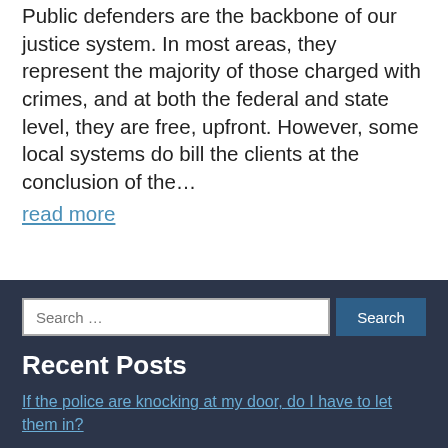Public defenders are the backbone of our justice system. In most areas, they represent the majority of those charged with crimes, and at both the federal and state level, they are free, upfront. However, some local systems do bill the clients at the conclusion of the…
read more
Recent Posts
If the police are knocking at my door, do I have to let them in?